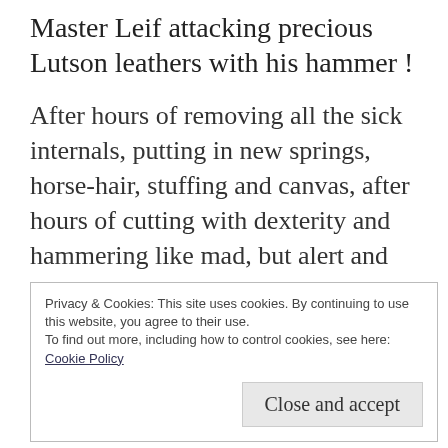Master Leif attacking precious Lutson leathers with his hammer !
After hours of removing all the sick internals, putting in new springs, horse-hair, stuffing and canvas, after hours of cutting with dexterity and hammering like mad, but alert and vigilant so the hand and the hammer do what the mind orders. Its time for Mistress
Privacy & Cookies: This site uses cookies. By continuing to use this website, you agree to their use.
To find out more, including how to control cookies, see here:
Cookie Policy
Close and accept
and found the work excellent .